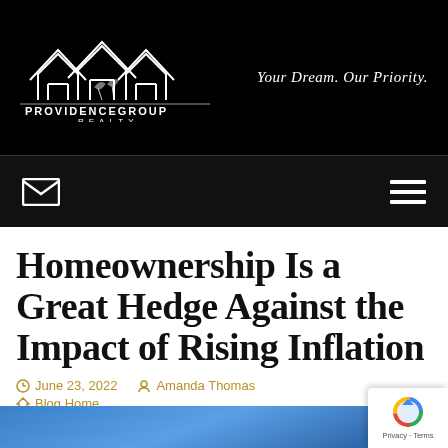[Figure (logo): Providence Group Realty logo with house icons and tagline 'Your Dream. Our Priority.' on black background]
[Figure (other): Navigation bar with envelope/email icon on left and hamburger menu icon on right, black background]
Homeownership Is a Great Hedge Against the Impact of Rising Inflation
June 23, 2022   Amanda Thomas
Blog Home
[Figure (photo): Partial view of blue sky photograph at bottom of page]
[Figure (other): Google reCAPTCHA badge with Privacy and Terms links]